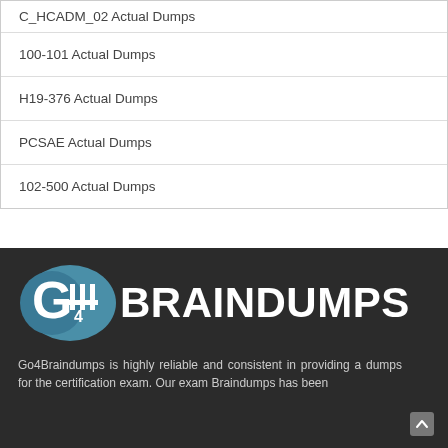C_HCADM_02 Actual Dumps
100-101 Actual Dumps
H19-376 Actual Dumps
PCSAE Actual Dumps
102-500 Actual Dumps
[Figure (logo): Go4Braindumps logo with a circular G4 icon in teal/slate blue and white text BRAINDUMPS on dark background]
Go4Braindumps is highly reliable and consistent in providing a dumps for the certification exam. Our exam Braindumps has been